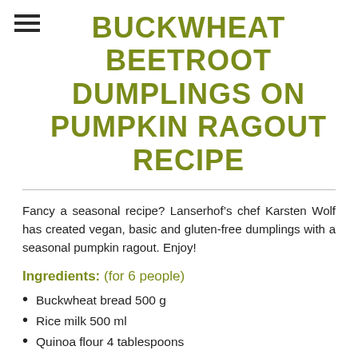BUCKWHEAT BEETROOT DUMPLINGS ON PUMPKIN RAGOUT RECIPE
Fancy a seasonal recipe? Lanserhof's chef Karsten Wolf has created vegan, basic and gluten-free dumplings with a seasonal pumpkin ragout. Enjoy!
Ingredients: (for 6 people)
Buckwheat bread 500 g
Rice milk 500 ml
Quinoa flour 4 tablespoons